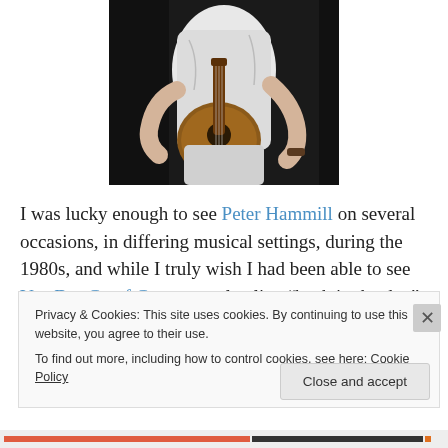[Figure (photo): A person in white clothing holding and playing an acoustic guitar, photographed against a dark background. Only the torso, arms and guitar are visible.]
I was lucky enough to see Peter Hammill on several occasions, in differing musical settings, during the 1980s, and while I truly wish I had been able to see Van Der Graaf Generator play live “back in the day” – seeing these
Privacy & Cookies: This site uses cookies. By continuing to use this website, you agree to their use.
To find out more, including how to control cookies, see here: Cookie Policy
Close and accept